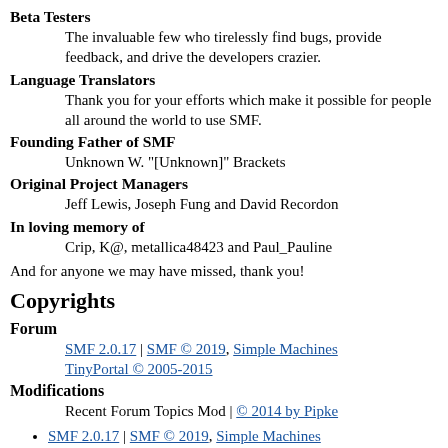Beta Testers
The invaluable few who tirelessly find bugs, provide feedback, and drive the developers crazier.
Language Translators
Thank you for your efforts which make it possible for people all around the world to use SMF.
Founding Father of SMF
Unknown W. "[Unknown]" Brackets
Original Project Managers
Jeff Lewis, Joseph Fung and David Recordon
In loving memory of
Crip, K@, metallica48423 and Paul_Pauline
And for anyone we may have missed, thank you!
Copyrights
Forum
SMF 2.0.17 | SMF © 2019, Simple Machines
TinyPortal © 2005-2015
Modifications
Recent Forum Topics Mod | © 2014 by Pipke
SMF 2.0.17 | SMF © 2019, Simple Machines